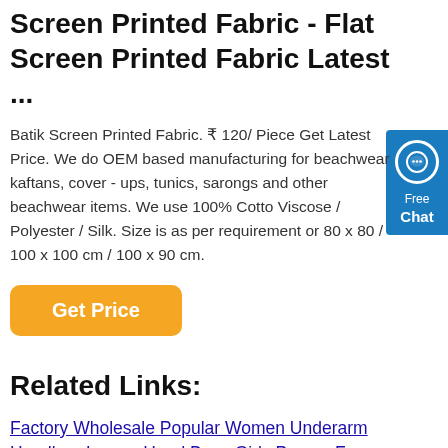Screen Printed Fabric - Flat Screen Printed Fabric Latest ...
Batik Screen Printed Fabric. ₹ 120/ Piece Get Latest Price. We do OEM based manufacturing for beachwear kaftans, cover - ups, tunics, sarongs and other beachwear items. We use 100% Cotton / Viscose / Polyester / Silk. Size is as per requirement or 80 x 80 / 100 x 100 cm / 100 x 90 cm.
[Figure (other): Orange 'Get Price' button]
Related Links:
Factory Wholesale Popular Women Underarm Handbag Luxury Hand Bags Girls Purses For Ladies
Wholesale New Style Colorful Neoprene Beach Bag Handbag For Women
Low MOQ Custom Logo Transparent Laser Cosmetic Pouch Luxury Print Clear Holographic Makeup Bag